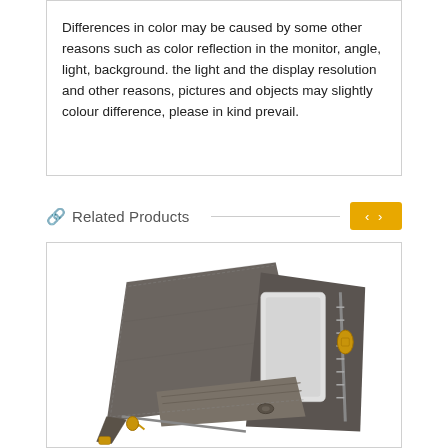Differences in color may be caused by some other reasons such as color reflection in the monitor, angle, light, background. the light and the display resolution and other reasons, pictures and objects may slightly colour difference, please in kind prevail.
Related Products
[Figure (photo): A dark gray leather wallet phone case with zipper and strap, shown from an angle displaying multiple card slots and phone compartment with gold zipper hardware.]